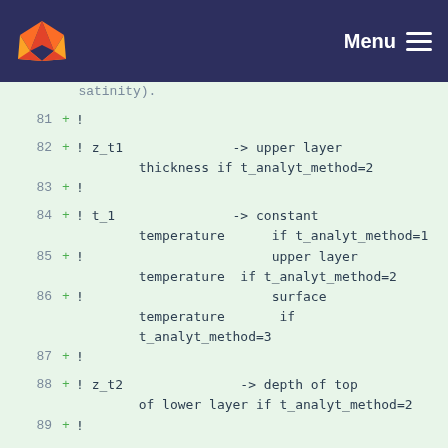GitLab — Menu
Code diff viewer showing lines 81-92 of a Fortran/configuration file with comments about oceanographic parameters including z_t1, t_1, z_t2, t_2, t_obs_NN related to t_analyt_method settings